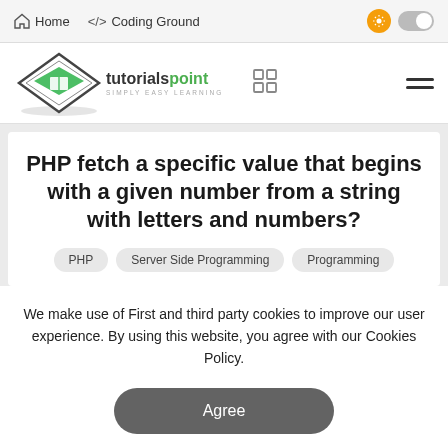Home   </> Coding Ground
[Figure (logo): Tutorialspoint logo — diamond shape with book/mortarboard icon, text 'tutorialspoint SIMPLY EASY LEARNING']
PHP fetch a specific value that begins with a given number from a string with letters and numbers?
PHP
Server Side Programming
Programming
We make use of First and third party cookies to improve our user experience. By using this website, you agree with our Cookies Policy.
Agree
Learn more